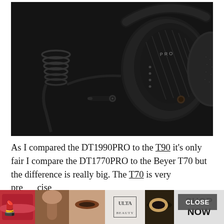[Figure (photo): Close-up photo of a Beyerdynamic DT 1770 PRO headphone on a dark background, showing the ear cup with 'PRO' text and mesh grille detail, along with a detached cable with 3.5mm connector lying beside it.]
As I compared the DT1990PRO to the T90 it's only fair I compare the DT1770PRO to the Beyer T70 but the difference is really big. The T70 is very precise
[Figure (photo): Advertisement banner at bottom showing beauty/makeup images and ULTA Beauty logo with 'SHOP NOW' call to action.]